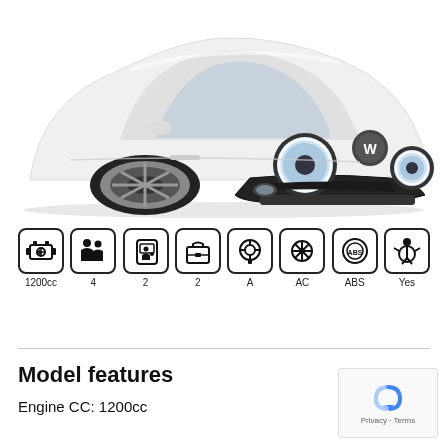[Figure (photo): White Volkswagen Beetle convertible viewed from front-three-quarter angle on white background]
[Figure (infographic): Row of 8 car feature icons with labels: 1200cc (engine), 4 (seats), 2 (doors), 2 (unknown), A (transmission), AC (air conditioning), ABS (brakes), Yes (airbag)]
Model features
Engine CC: 1200cc